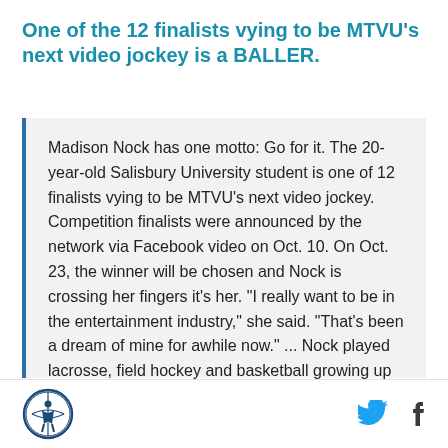One of the 12 finalists vying to be MTVU's next video jockey is a BALLER.
Madison Nock has one motto: Go for it. The 20-year-old Salisbury University student is one of 12 finalists vying to be MTVU's next video jockey. Competition finalists were announced by the network via Facebook video on Oct. 10. On Oct. 23, the winner will be chosen and Nock is crossing her fingers it's her. "I really want to be in the entertainment industry," she said. "That's been a dream of mine for awhile now." ... Nock played lacrosse, field hockey and basketball growing up and went on to play Division II lacrosse at West Virginia Wesleyan
[Figure (logo): Circular logo with a figure and basketball, dark blue outline on white background]